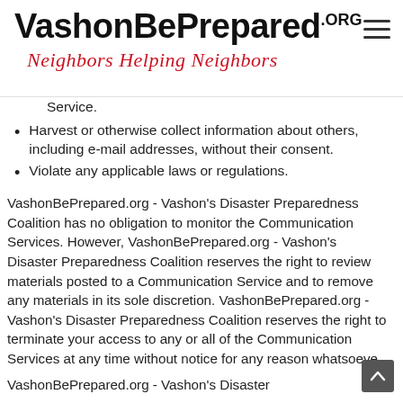VashonBePrepared.org — Neighbors Helping Neighbors
Service.
Harvest or otherwise collect information about others, including e-mail addresses, without their consent.
Violate any applicable laws or regulations.
VashonBePrepared.org - Vashon's Disaster Preparedness Coalition has no obligation to monitor the Communication Services. However, VashonBePrepared.org - Vashon's Disaster Preparedness Coalition reserves the right to review materials posted to a Communication Service and to remove any materials in its sole discretion. VashonBePrepared.org - Vashon's Disaster Preparedness Coalition reserves the right to terminate your access to any or all of the Communication Services at any time without notice for any reason whatsoeve
VashonBePrepared.org - Vashon's Disaster